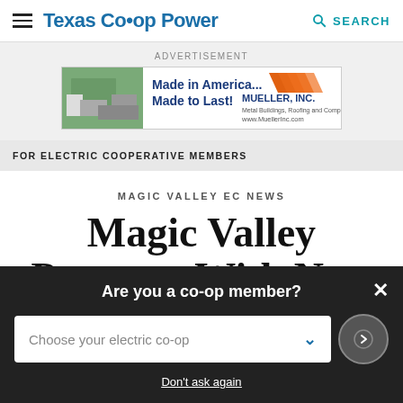Texas Co-op Power
[Figure (other): Mueller Inc advertisement banner: Made in America... Made to Last!]
FOR ELECTRIC COOPERATIVE MEMBERS
MAGIC VALLEY EC NEWS
Magic Valley Partners With Nest
Are you a co-op member?
Choose your electric co-op
Don't ask again